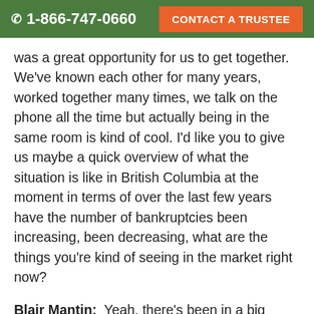1-866-747-0660   CONTACT A TRUSTEE
was a great opportunity for us to get together. We've known each other for many years, worked together many times, we talk on the phone all the time but actually being in the same room is kind of cool. I'd like you to give us maybe a quick overview of what the situation is like in British Columbia at the moment in terms of over the last few years have the number of bankruptcies been increasing, been decreasing, what are the things you're kind of seeing in the market right now?
Blair Mantin:  Yeah, there's been in a big ramp up in BC and there's a number of reasons for it and I'll explain those as we go along but really since 2009, the number of bankruptcies and proposals has increased and it's kind of maintained at that level. So it goes up or down a few percent per year but not a real dramatic change so it